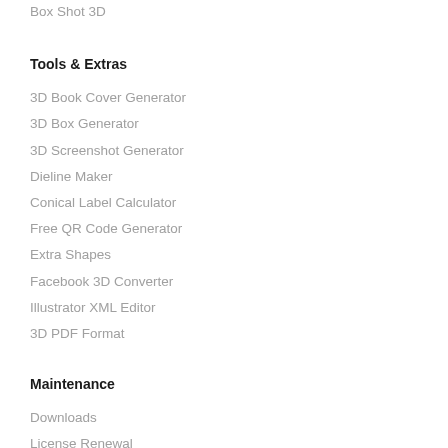Box Shot 3D
Tools & Extras
3D Book Cover Generator
3D Box Generator
3D Screenshot Generator
Dieline Maker
Conical Label Calculator
Free QR Code Generator
Extra Shapes
Facebook 3D Converter
Illustrator XML Editor
3D PDF Format
Maintenance
Downloads
License Renewal